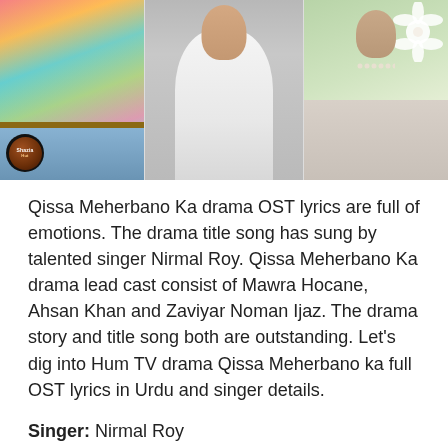[Figure (photo): Three photos side by side: left shows a woman in colorful floral top with jeans, center shows a man in white shirt, right shows a woman in light clothing holding white flowers, with a logo badge in the bottom left of the left photo]
Qissa Meherbano Ka drama OST lyrics are full of emotions. The drama title song has sung by talented singer Nirmal Roy. Qissa Meherbano Ka drama lead cast consist of Mawra Hocane, Ahsan Khan and Zaviyar Noman Ijaz. The drama story and title song both are outstanding. Let’s dig into Hum TV drama Qissa Meherbano ka full OST lyrics in Urdu and singer details.
Singer:  Nirmal Roy
Composer:  Shiraz Uppal